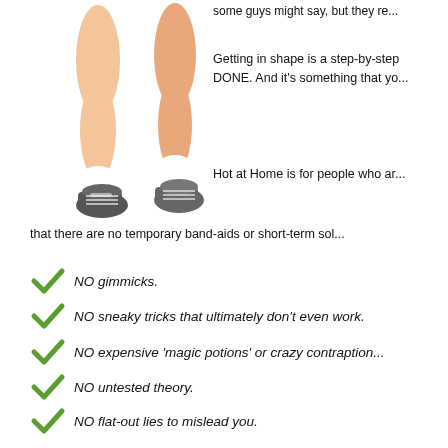[Figure (illustration): Illustration of two pairs of legs wearing sneakers, side by side]
Some guys might say, but they re...
Getting in shape is a step-by-step process that can be DONE. And it's something that yo...
Hot at Home is for people who ar... that there are no temporary band-aids or short-term sol...
NO gimmicks.
NO sneaky tricks that ultimately don't even work.
NO expensive 'magic potions' or crazy contraption...
NO untested theory.
NO flat-out lies to mislead you.
NO chasing rainbows you can never catch.
And best of all: NO FRUSTRATING TRIPS TO TH...